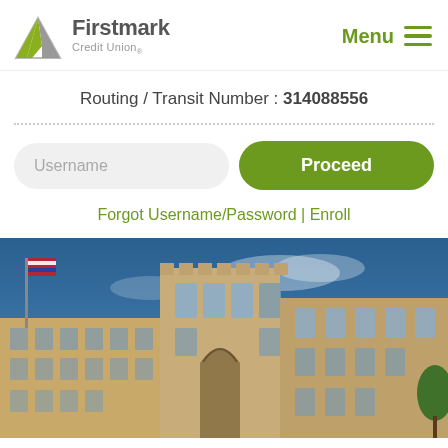[Figure (logo): Firstmark Credit Union logo with green mountain/triangle icon]
Menu
Routing / Transit Number : 314088556
Username
Proceed
Forgot Username/Password | Enroll
[Figure (photo): Art Deco / historic building exterior with blue sky and flags]